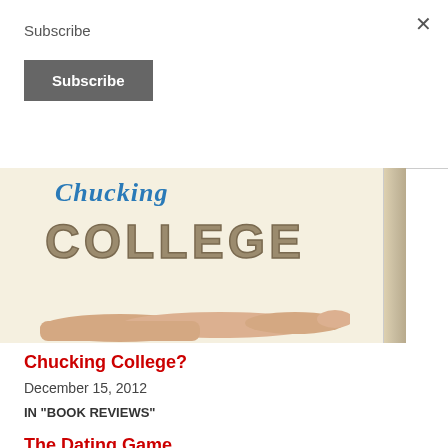×
Subscribe
Subscribe
[Figure (photo): Book cover showing 'Chucking College' text in collegiate style letters with a hand pointing, on a cream background]
Chucking College?
December 15, 2012
IN "BOOK REVIEWS"
The Dating Game